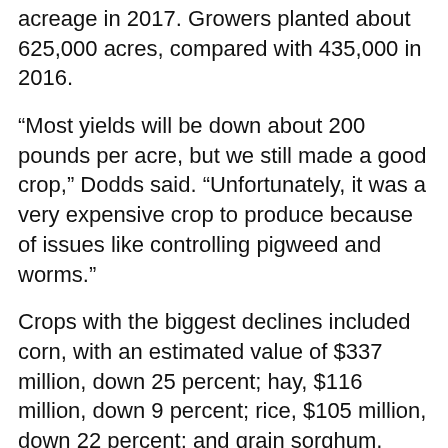acreage in 2017. Growers planted about 625,000 acres, compared with 435,000 in 2016.
“Most yields will be down about 200 pounds per acre, but we still made a good crop,” Dodds said. “Unfortunately, it was a very expensive crop to produce because of issues like controlling pigweed and worms.”
Crops with the biggest declines included corn, with an estimated value of $337 million, down 25 percent; hay, $116 million, down 9 percent; rice, $105 million, down 22 percent; and grain sorghum, $1.3 million, down 62 percent. All of these values dropped largely because of reduced acreage.
Mississippi remains the national leader in catfish production, but catfish ranks No. 7 among the ag commodities in the state. Economists are predicting a value of almost $181 million, down almost 16 percent.
For more information, visit the ag economics web site...